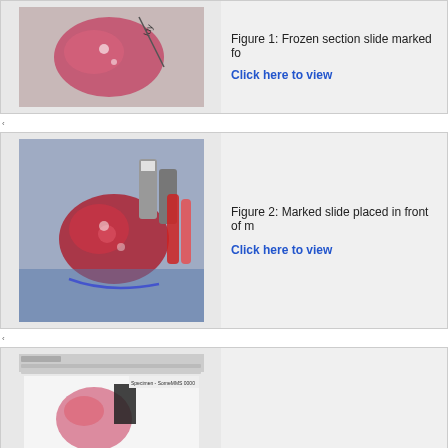[Figure (photo): Partial view of frozen section slide with pink tissue stained specimen, handwritten markings visible]
Figure 1: Frozen section slide marked fo...
Click here to view
[Figure (photo): Marked slide placed in front of medical setting showing surgical specimen with blue glove, red tissue and labeled tubes]
Figure 2: Marked slide placed in front of ...
Click here to view
[Figure (photo): Digitalized MMS photomap in E... - screenshot of photomap software with inset of hand holding a tissue specimen with purple ink markings]
Figure 3: Digitalized MMS photomap in E...
Click here to view
Discussion